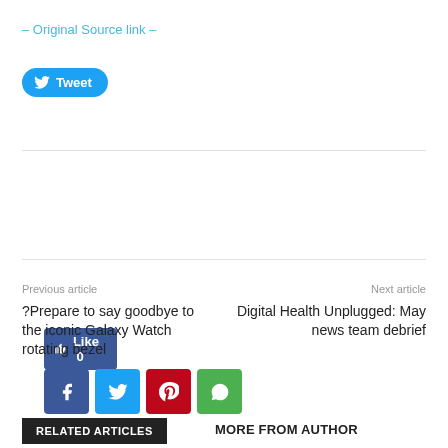– Original Source link –
[Figure (other): Twitter Tweet button (blue rounded button with bird icon and 'Tweet' text)]
[Figure (other): Facebook Like button showing 'Like 0', and four social sharing icon buttons: Facebook (dark blue), Twitter (light blue), Pinterest (red), WhatsApp (green)]
Previous article
Next article
?Prepare to say goodbye to the iconic Galaxy Watch rotating bezel
Digital Health Unplugged: May news team debrief
RELATED ARTICLES
MORE FROM AUTHOR